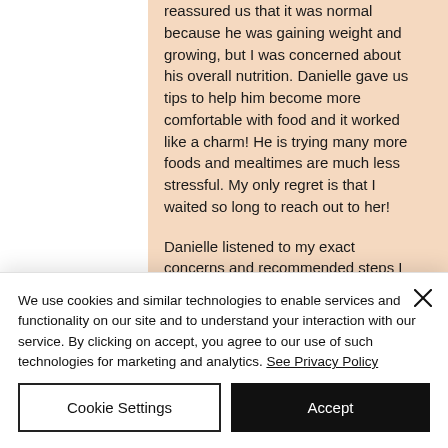reassured us that it was normal because he was gaining weight and growing, but I was concerned about his overall nutrition. Danielle gave us tips to help him become more comfortable with food and it worked like a charm! He is trying many more foods and mealtimes are much less stressful. My only regret is that I waited so long to reach out to her!

Danielle listened to my exact concerns and recommended steps I was comfortable implementing. I was happy she worked...
We use cookies and similar technologies to enable services and functionality on our site and to understand your interaction with our service. By clicking on accept, you agree to our use of such technologies for marketing and analytics. See Privacy Policy